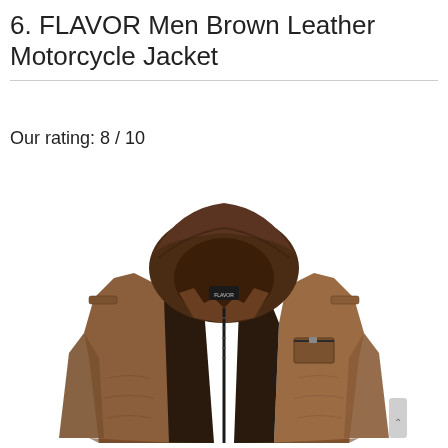6. FLAVOR Men Brown Leather Motorcycle Jacket
Our rating: 8 / 10
[Figure (photo): Brown leather motorcycle jacket with detachable hood, open front zipper showing dark lining, brand label visible inside, chest pockets with zippers, shot on white background]